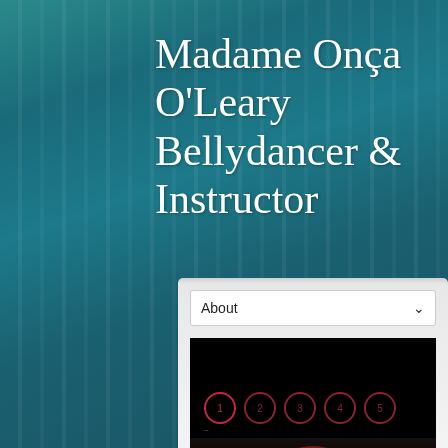Madame Onça O'Leary Bellydancer & Instructor
[Figure (screenshot): A website widget with an 'About' dropdown selector at the top, below which is a dark/black image slideshow area showing numbered circular navigation dots (1,2,3,4,5) and the bottom portion of a performer image with red costume, all on a light gray/white widget background.]